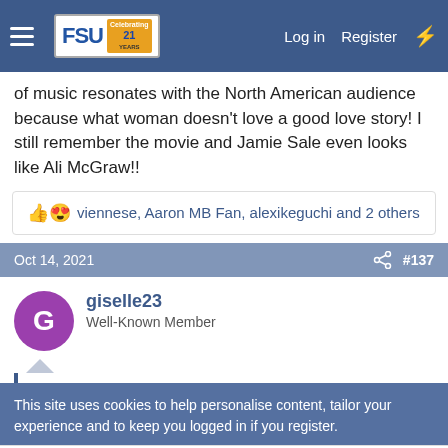FSU forum nav bar — Log in  Register
of music resonates with the North American audience because what woman doesn't love a good love story! I still remember the movie and Jamie Sale even looks like Ali McGraw!!
👍😍 viennese, Aaron MB Fan, alexikeguchi and 2 others
Oct 14, 2021  #137
giselle23
Well-Known Member
This site uses cookies to help personalise content, tailor your experience and to keep you logged in if you register.
[Figure (screenshot): Advertisement for Frontgate: Outdoor Furniture | Bedding. 25% off site wide sale going on now at Frontgate.com. Shows dark product image on left, ad text in center, and arrow button on right.]